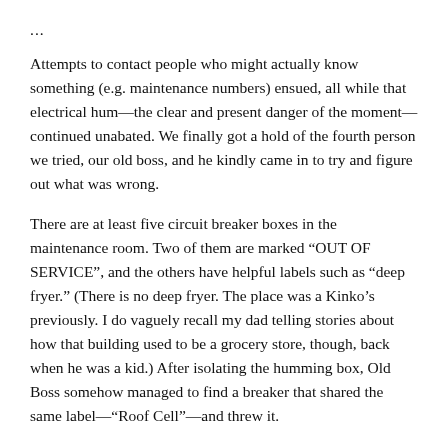...
Attempts to contact people who might actually know something (e.g. maintenance numbers) ensued, all while that electrical hum—the clear and present danger of the moment—continued unabated. We finally got a hold of the fourth person we tried, our old boss, and he kindly came in to try and figure out what was wrong.
There are at least five circuit breaker boxes in the maintenance room. Two of them are marked “OUT OF SERVICE”, and the others have helpful labels such as “deep fryer.” (There is no deep fryer. The place was a Kinko’s previously. I do vaguely recall my dad telling stories about how that building used to be a grocery store, though, back when he was a kid.) After isolating the humming box, Old Boss somehow managed to find a breaker that shared the same label—“Roof Cell”—and threw it.
Finally, silence.
While Old Boss fiddled with the other circuits, resetting